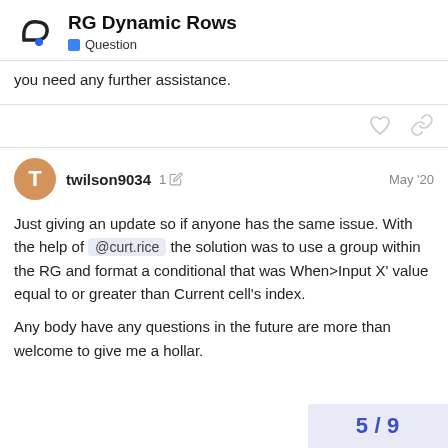RG Dynamic Rows | Question
you need any further assistance.
twilson9034  1  May '20
Just giving an update so if anyone has the same issue. With the help of @curt.rice the solution was to use a group within the RG and format a conditional that was When>Input X' value equal to or greater than Current cell's index.

Any body have any questions in the future are more than welcome to give me a hollar.
5 / 9